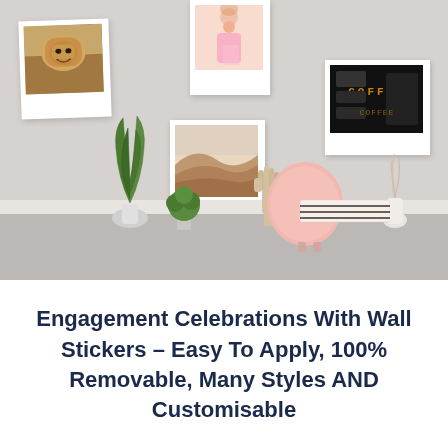[Figure (photo): A styled home office desk with a light pink chair, potted plants (tall snake plant and small green plant), a hand sculpture, feather in vase, and an open notebook on the desk. On the wall behind are five framed/polaroid pictures: a lion roaring (top left), a girl in pink (top center), a desert/sand dunes landscape (center), a coffee shop sign reading COFFEE (top right).]
Engagement Celebrations With Wall Stickers – Easy To Apply, 100% Removable, Many Styles AND Customisable